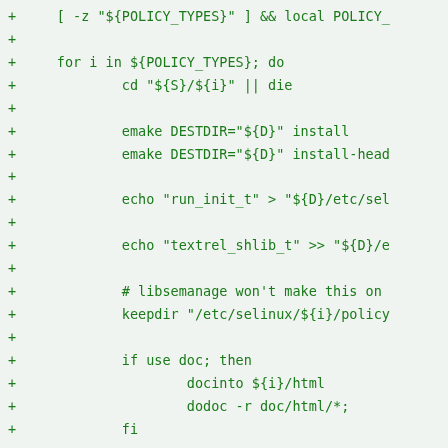+ 	[ -z "${POLICY_TYPES}" ] && local POLICY_
+
+	for i in ${POLICY_TYPES}; do
+		cd "${S}/${i}" || die
+
+		emake DESTDIR="${D}" install
+		emake DESTDIR="${D}" install-head
+
+		echo "run_init_t" > "${D}/etc/sel
+
+		echo "textrel_shlib_t" >> "${D}/e
+
+		# libsemanage won't make this on
+		keeepdir "/etc/selinux/${i}/policy
+
+		if use doc; then
+			docinto ${i}/html
+			dodoc -r doc/html/*;
+		fi
+
+		insinto /usr/share/selinux/devel;
+		doins doc/policy.xml;